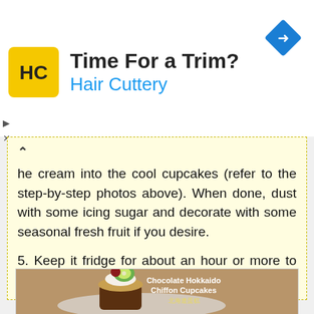[Figure (infographic): Hair Cuttery advertisement banner with logo (HC in yellow square), text 'Time For a Trim?' and 'Hair Cuttery' in blue, and a blue diamond arrow icon on the right.]
he cream into the cool cupcakes (refer to the step-by-step photos above). When done, dust with some icing sugar and decorate with some seasonal fresh fruit if you desire.

5. Keep it fridge for about an hour or more to firm up the custard before serving.
[Figure (photo): Photo of a Chocolate Hokkaido Chiffon Cupcake on a white plate with kiwi and berry decoration. Text overlay reads 'Chocolate Hokkaido Chiffon Cupcakes' and Chinese characters '北海道蛋糕'.]